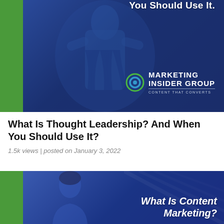[Figure (illustration): Dark blue banner image with green left bar, statue silhouette overlay, and Marketing Insider Group logo. Partial cropped text at top reads 'You Should Use It.']
What Is Thought Leadership? And When You Should Use It?
1.5k views | posted on January 3, 2022
[Figure (illustration): Dark blue banner image with green left bar, person silhouette on left, diagonal lines graphic, and bold italic white text reading 'What Is Content Marketing?']